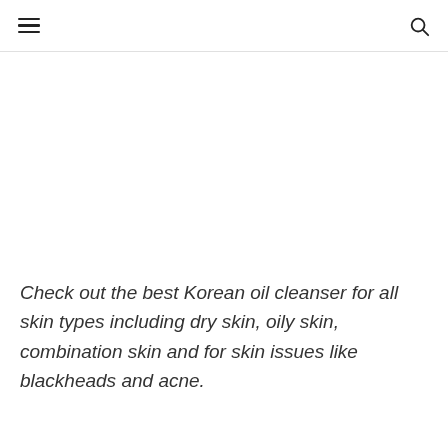☰ 🔍
Check out the best Korean oil cleanser for all skin types including dry skin, oily skin, combination skin and for skin issues like blackheads and acne.